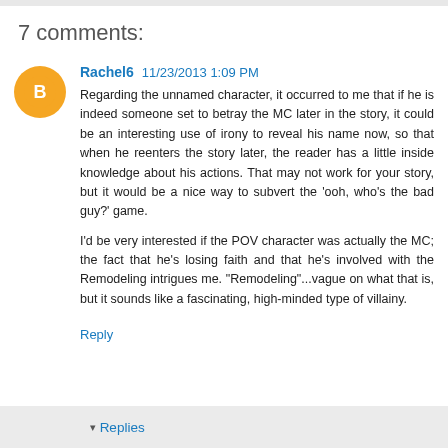7 comments:
Rachel6  11/23/2013 1:09 PM
Regarding the unnamed character, it occurred to me that if he is indeed someone set to betray the MC later in the story, it could be an interesting use of irony to reveal his name now, so that when he reenters the story later, the reader has a little inside knowledge about his actions. That may not work for your story, but it would be a nice way to subvert the 'ooh, who's the bad guy?' game.

I'd be very interested if the POV character was actually the MC; the fact that he's losing faith and that he's involved with the Remodeling intrigues me. "Remodeling"...vague on what that is, but it sounds like a fascinating, high-minded type of villainy.
Reply
Replies